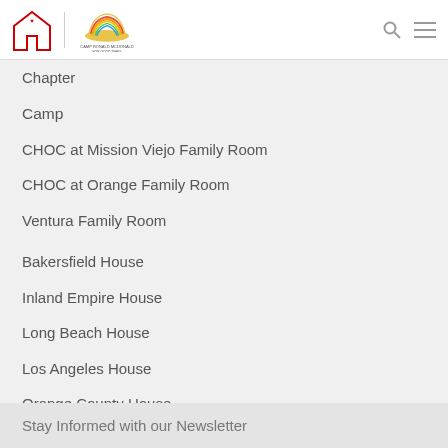RMHC / Camp Ronald McDonald for Good Times logo and navigation
Chapter
Camp
CHOC at Mission Viejo Family Room
CHOC at Orange Family Room
Ventura Family Room
Bakersfield House
Inland Empire House
Long Beach House
Los Angeles House
Orange County House
Pasadena House
Westside LA House
Stay Informed with our Newsletter